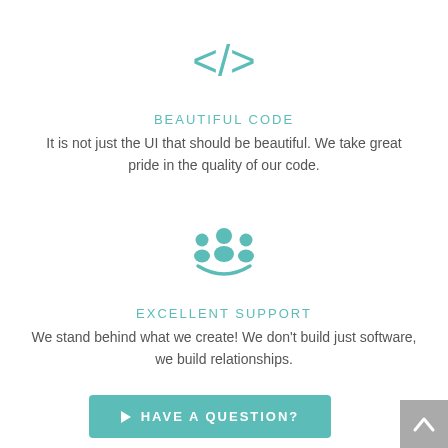[Figure (illustration): Teal code tag icon: </> in angular bracket style]
BEAUTIFUL CODE
It is not just the UI that should be beautiful. We take great pride in the quality of our code.
[Figure (illustration): Teal group/team icon showing people sitting around a table]
EXCELLENT SUPPORT
We stand behind what we create! We don't build just software, we build relationships.
[Figure (other): Teal button labeled 'HAVE A QUESTION?' with a play arrow icon]
[Figure (other): Gray scroll-to-top button with upward arrow, bottom right corner]